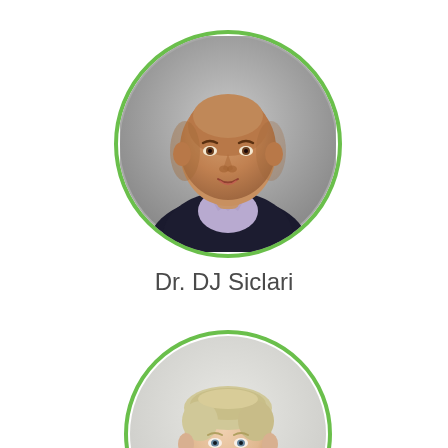[Figure (photo): Circular headshot of Dr. DJ Siclari — a bald man with a friendly expression, wearing a dark blazer over a light purple shirt, against a grey background. Green circular border around the photo.]
Dr. DJ Siclari
[Figure (photo): Circular headshot of a woman with short blonde hair, wearing a dark grey top, smiling, against a light background. Green circular border around the photo. Only top portion is visible.]